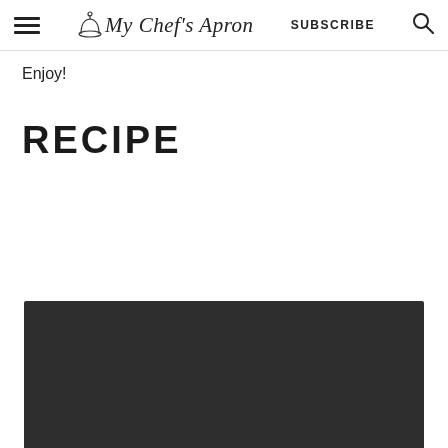My Chef's Apron — SUBSCRIBE
Enjoy!
RECIPE
[Figure (photo): Dark background food photo, partially visible at bottom of page]